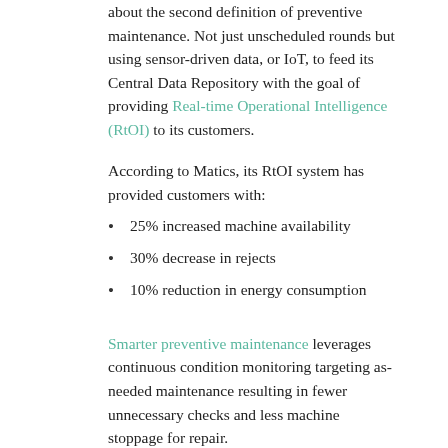about the second definition of preventive maintenance. Not just unscheduled rounds but using sensor-driven data, or IoT, to feed its Central Data Repository with the goal of providing Real-time Operational Intelligence (RtOI) to its customers.
According to Matics, its RtOI system has provided customers with:
25% increased machine availability
30% decrease in rejects
10% reduction in energy consumption
Smarter preventive maintenance leverages continuous condition monitoring targeting as-needed maintenance resulting in fewer unnecessary checks and less machine stoppage for repair.
I am not trying to write a marketing piece for Matics, although the company does compensate me for some